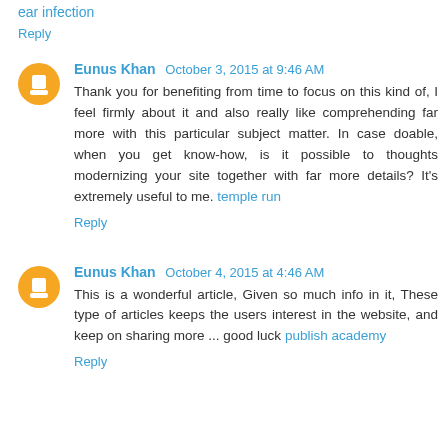ear infection
Reply
Eunus Khan October 3, 2015 at 9:46 AM
Thank you for benefiting from time to focus on this kind of, I feel firmly about it and also really like comprehending far more with this particular subject matter. In case doable, when you get know-how, is it possible to thoughts modernizing your site together with far more details? It's extremely useful to me. temple run
Reply
Eunus Khan October 4, 2015 at 4:46 AM
This is a wonderful article, Given so much info in it, These type of articles keeps the users interest in the website, and keep on sharing more ... good luck publish academy
Reply